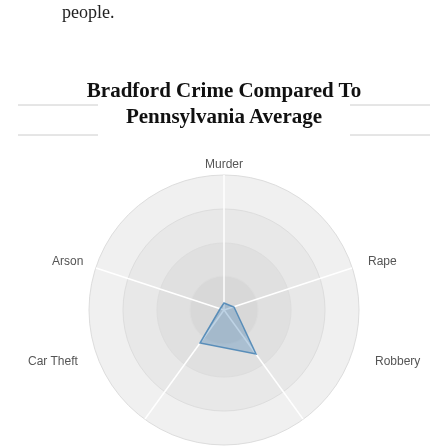people.
[Figure (radar-chart): Radar chart showing Bradford crime compared to Pennsylvania average across categories: Murder, Rape, Robbery, Car Theft, Arson. Bradford data shown as a blue filled polygon concentrated mostly in lower categories.]
Bradford Crime Compared To Pennsylvania Average